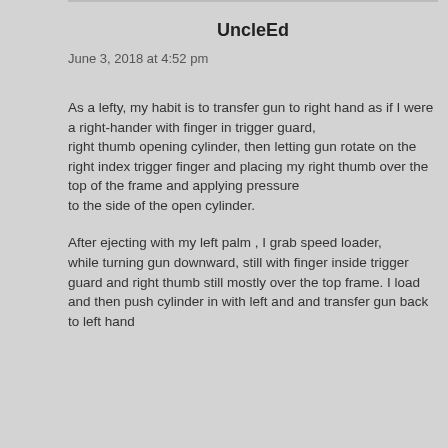UncleEd
June 3, 2018 at 4:52 pm
As a lefty, my habit is to transfer gun to right hand as if I were a right-hander with finger in trigger guard,
right thumb opening cylinder, then letting gun rotate on the right index trigger finger and placing my right thumb over the top of the frame and applying pressure
to the side of the open cylinder.
After ejecting with my left palm , I grab speed loader,
while turning gun downward, still with finger inside trigger guard and right thumb still mostly over the top frame. I load and then push cylinder in with left and and transfer gun back to left hand